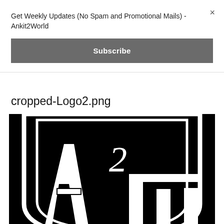Get Weekly Updates (No Spam and Promotional Mails) - Ankit2World
×
Subscribe
cropped-Logo2.png
[Figure (logo): Black and white logo showing stylized letters A2W on a black shield-shaped background with white outlines and a superscript 2]